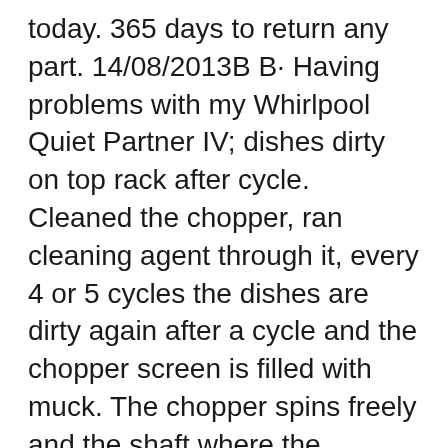today. 365 days to return any part. 14/08/2013B B· Having problems with my Whirlpool Quiet Partner IV; dishes dirty on top rack after cycle. Cleaned the chopper, ran cleaning agent through it, every 4 or 5 cycles the dishes are dirty again after a cycle and the chopper screen is filled with muck. The chopper spins freely and the shaft where the...
Whirlpool recommends cleaning the interior, exterior and the drain air gap. Clean the dishwasher as often as you want or particularly when you notice build-up. Regular cleaning may protect and prolong the life of the dishwasher and its components. You can clean your